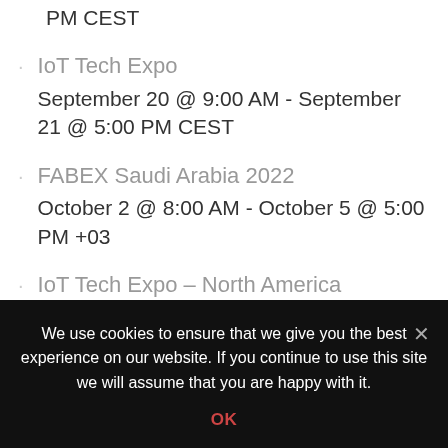PM CEST
IoT Tech Expo
September 20 @ 9:00 AM - September 21 @ 5:00 PM CEST
FABEX Saudi Arabia 2022
October 2 @ 8:00 AM - October 5 @ 5:00 PM +03
IoT Tech Expo – North America
October 5 @ 8:00 AM - October 6 @ 5:00 PM UTC-7
We use cookies to ensure that we give you the best experience on our website. If you continue to use this site we will assume that you are happy with it.
OK